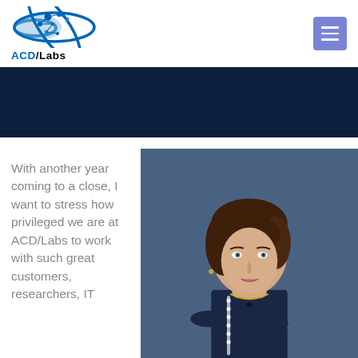[Figure (logo): ACD/Labs logo with molecular graphic and company name]
[Figure (illustration): Dark navy blue header banner]
With another year coming to a close, I want to stress how privileged we are at ACD/Labs to work with such great customers, researchers, IT
[Figure (photo): Professional headshot of a woman with short brown hair wearing a dark navy top with white dotted detail, against a blue-grey background]